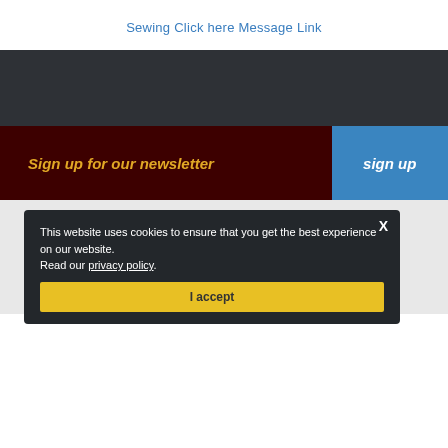Sewing Click here Message Link
[Figure (other): Dark gray banner/image area]
Sign up for our newsletter
sign up
CONTACT US . DELIVERY . CHAT LIVE . TERMS . YOUR PRIVACY . REFUND POLICY . POINTE SHOE BOOKING . SEWING SERVICES OUR YELL REVIEWS
THE DANCE SHOP. 2... J3 4BQ. VAT REG NUMBER GB 348 1047 08. THIS WEBSITE IS COPYRIGHT © THE DANCE SHOP 2022. ALL RIGHTS RESERVED. POWERED BY WIRED
[Figure (other): Payment icons: PayPal, Mastercard, VISA, Discover, JCB, stripe]
This website uses cookies to ensure that you get the best experience on our website. Read our privacy policy.
I accept